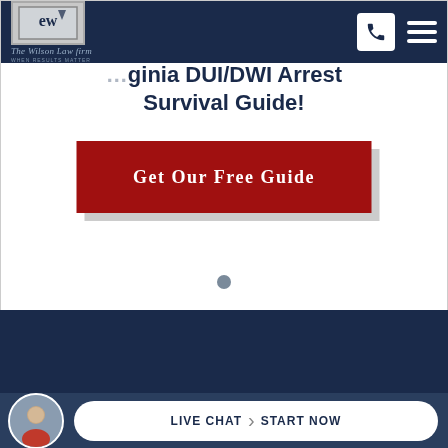[Figure (screenshot): The Wilson Law Firm logo with decorative 'W' monogram in a bordered box, with italic cursive text below reading 'The Wilson Law Firm' and tagline 'WHEN RESULTS MATTER']
Virginia DUI/DWI Arrest Survival Guide!
[Figure (other): Red button with white serif text reading 'GET OUR FREE GUIDE' with a grey drop shadow]
Free No-Obligation Case Review
We go above and beyond in order to
[Figure (photo): Circular avatar photo of a man in a suit smiling]
LIVE CHAT  ›  START NOW